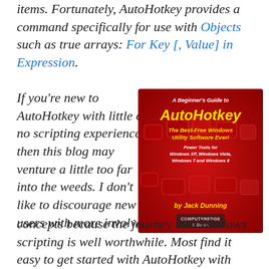items. Fortunately, AutoHotkey provides a command specifically for use with Objects such as true arrays: For Key [, Value] in Expression.
If you're new to AutoHotkey with little or no scripting experience, then this blog may venture a little too far into the weeds. I don't like to discourage new users with more involved concepts because the journey into Windows scripting is well worthwhile. Most find it easy to get started with AutoHotkey with many simple-to-implement tools. However, it takes a little time to
[Figure (illustration): Book cover: 'A Beginner's Guide to AutoHotkey - The Best-Free Windows Utility Software Ever! Power Tools for Windows XP, Windows Vista, Windows 7 and Windows 8' by Jack Dunning, ComputerEdge E-Books. Red keyboard background.]